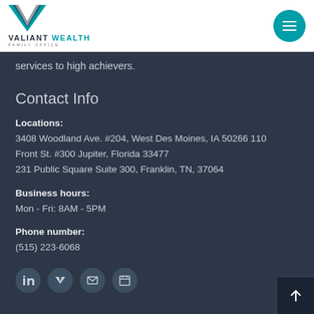[Figure (logo): Valiant Wealth Family Office logo with teal V mark and text]
services to high achievers.
Contact Info
Locations:
3408 Woodland Ave. #204, West Des Moines, IA 50266 110 Front St. #300 Jupiter, Florida 33477
231 Public Square Suite 300, Franklin, TN, 37064
Business hours:
Mon - Fri: 8AM - 5PM
Phone number:
(515) 223-6068
[Figure (illustration): Social media icons: LinkedIn, Vimeo, Email, Calendar]